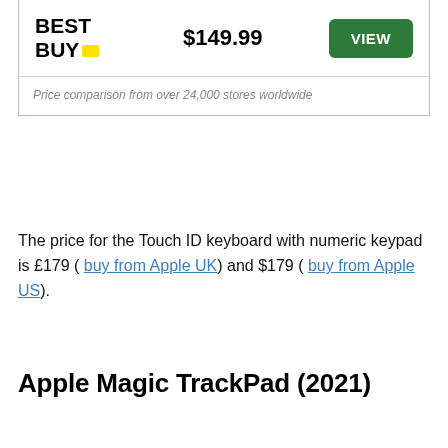[Figure (other): Best Buy retailer logo with yellow accent dot]
| Store | Price | Action |
| --- | --- | --- |
| Best Buy | $149.99 | VIEW |
Price comparison from over 24,000 stores worldwide
The price for the Touch ID keyboard with numeric keypad is £179 ( buy from Apple UK) and $179 ( buy from Apple US).
Apple Magic TrackPad (2021)